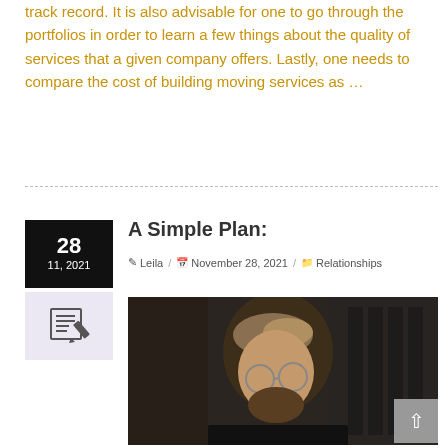track record. It is also advisable for one to go through the portfolios in order to learn a few things about the quality of services that a given company offers. Lastly, one needs to compare the cost of building moving services as …
A Simple Plan:
Leila / November 28, 2021 / Relationships
[Figure (photo): A man with styled hair, beard, and glasses wearing a black shirt, photographed from above in a studio or workspace setting.]